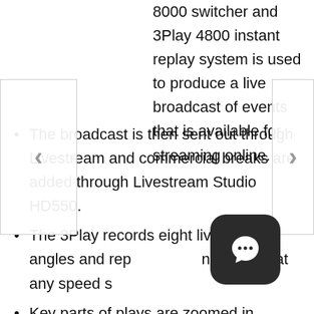8000 switcher and 3Play 4800 instant replay system is used to produce a live broadcast of events that is available for streaming online.
The broadcast is then sent out through Livestream and commercial breaks are added through Livestream Studio HD550.
The 3Play records eight live camera angles and replays them instantly at any speed s...
Key parts of plays are zoomed in